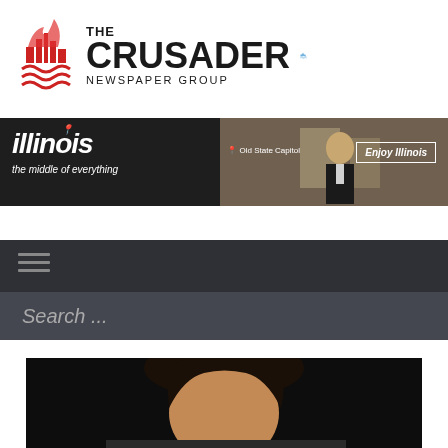[Figure (logo): The Crusader Newspaper Group logo with red flame/city icon on left, text 'THE CRUSADER NEWSPAPER GROUP' in center, and blue wave/city icon on right]
[Figure (photo): Illinois tourism advertisement banner showing 'illinois the middle of everything' with a man in a tuxedo, Old State Capitol location marker, and an 'Enjoy Illinois' button]
[Figure (screenshot): Dark navigation bar with hamburger menu icon (three horizontal lines)]
[Figure (screenshot): Dark search bar with placeholder text 'Search ...']
[Figure (photo): Portrait photo of a person (head and shoulders) on a dark background, partially cropped at bottom of page]